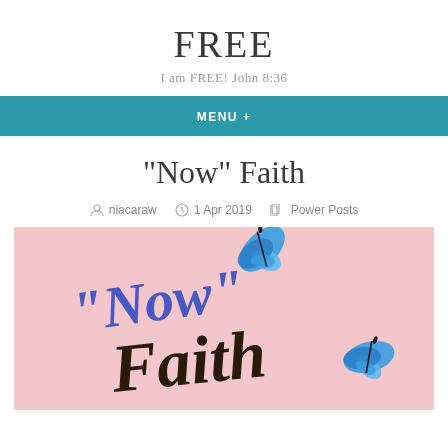FREE
I am FREE! John 8:36
MENU +
“Now” Faith
niacaraw   1 Apr 2019   Power Posts
[Figure (illustration): Pink background illustration with cursive text reading '"Now" Faith' decorated with blue butterflies]